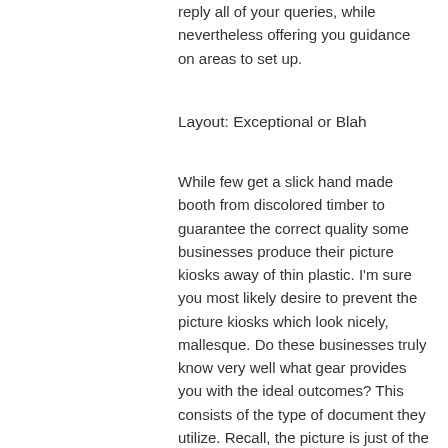reply all of your queries, while nevertheless offering you guidance on areas to set up.
Layout: Exceptional or Blah
While few get a slick hand made booth from discolored timber to guarantee the correct quality some businesses produce their picture kiosks away of thin plastic. I'm sure you most likely desire to prevent the picture kiosks which look nicely, mallesque. Do these businesses truly know very well what gear provides you with the ideal outcomes? This consists of the type of document they utilize. Recall, the picture is just of the same quality as the picture it's published on. What sort of cam is the corporation utilizing for pictures? I really don't presume the cut will be made by a scrap book full of guests with red eye. Appeal can be also added by the design of your photo booth for your chamber. Consider this issue, "may my booth merge properly with my decor?" The time is also reduced by a modest design necessary for set up. This implies that we now have fewer grounds to be worry about last-minute selections. It might be moved in moments, the picture booth is create subsequently no